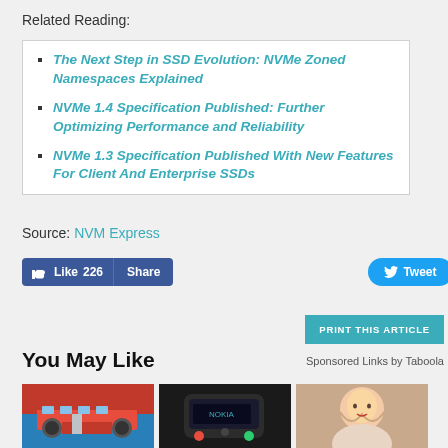Related Reading:
The Next Step in SSD Evolution: NVMe Zoned Namespaces Explained
NVMe 1.4 Specification Published: Further Optimizing Performance and Reliability
NVMe 1.3 Specification Published With New Features For Client And Enterprise SSDs
Source: NVM Express
[Figure (screenshot): Social media buttons: Like 226, Share, Tweet]
[Figure (screenshot): Print This Article button]
You May Like
Sponsored Links by Taboola
[Figure (photo): Thumbnail image 1: bus scene]
[Figure (photo): Thumbnail image 2: Nokia phone]
[Figure (photo): Thumbnail image 3: woman portrait]